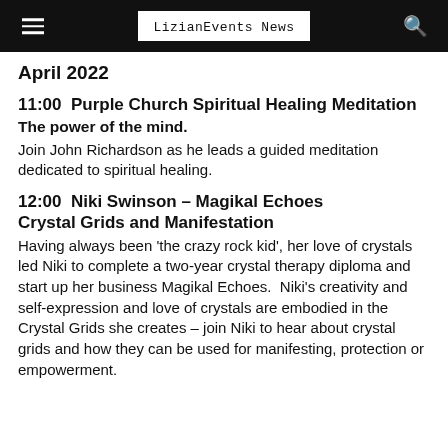LizianEvents News
April 2022
11:00  Purple Church Spiritual Healing Meditation
The power of the mind.
Join John Richardson as he leads a guided meditation dedicated to spiritual healing.
12:00  Niki Swinson – Magikal Echoes
Crystal Grids and Manifestation
Having always been 'the crazy rock kid', her love of crystals led Niki to complete a two-year crystal therapy diploma and start up her business Magikal Echoes.  Niki's creativity and self-expression and love of crystals are embodied in the Crystal Grids she creates – join Niki to hear about crystal grids and how they can be used for manifesting, protection or empowerment.